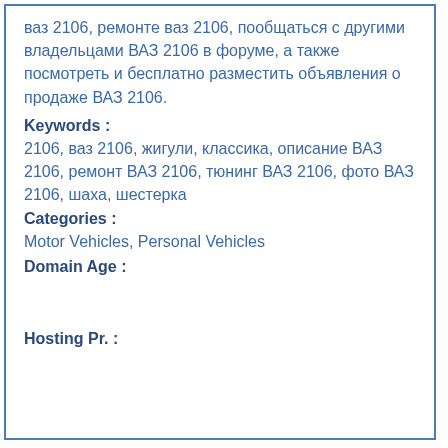ваз 2106, ремонте ваз 2106, пообщаться с другими владельцами ВАЗ 2106 в форуме, а также посмотреть и бесплатно разместить объявления о продаже ВАЗ 2106.
Keywords :
2106, ваз 2106, жигули, классика, описание ВАЗ 2106, ремонт ВАЗ 2106, тюнинг ВАЗ 2106, фото ВАЗ 2106, шаха, шестерка
Categories :
Motor Vehicles, Personal Vehicles
Domain Age :
Hosting Pr. :